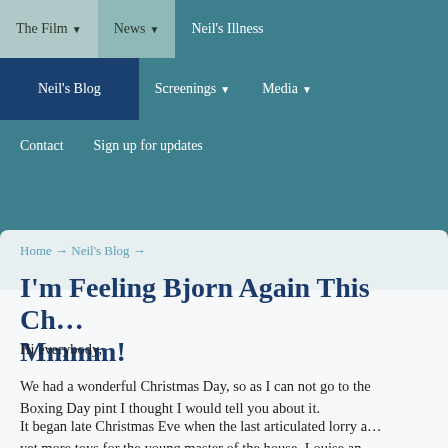The Film ▼  News ▼  Neil's Illness
Neil's Blog  Screenings ▼  Media ▼
Contact  Sign up for updates
[Figure (photo): Close-up blurred photo of baby hands/feet against a teal and skin-tone background, used as hero image behind the navigation.]
Home → Neil's Blog →
I'm Feeling Bjorn Again This Ch… Mmmm!
Hi everybody,
We had a wonderful Christmas Day, so as I can not go to the Boxing Day pint I thought I would tell you about it.
It began late Christmas Eve when the last articulated lorry a… yet more toys for the young master of the house. Louise an…